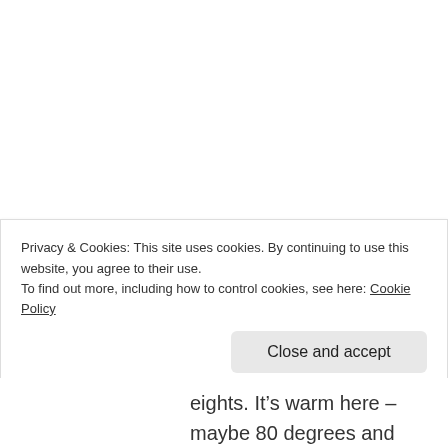[Figure (illustration): Circular avatar image of a blue cartoon bug/butterfly character with stick limbs on a light lavender background]
Maureen Coleman
JULY 31, 2010 AT 6:01 PM
How odd. I just came home and some dragonflies were swarming in my front yard. I live in Long Beach, CA. There were probably 20-30. I did a Google search and found your post.
Privacy & Cookies: This site uses cookies. By continuing to use this website, you agree to their use.
To find out more, including how to control cookies, see here: Cookie Policy
Close and accept
eights. It’s warm here – maybe 80 degrees and